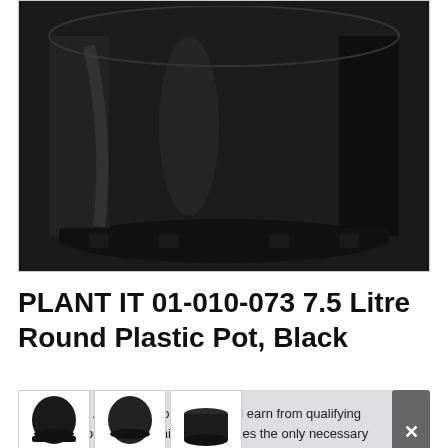[Figure (photo): Close-up bottom portion of a black round plastic plant pot with ribbed sides and drainage notches, photographed against a white background.]
PLANT IT 01-010-073 7.5 Litre Round Plastic Pot, Black
As an Amazon Associate I earn from qualifying purchases. This website uses the only necessary cookies to ensure you get the best experience on our website. More information
[Figure (photo): Thumbnail images of the black round plastic plant pot from different angles.]